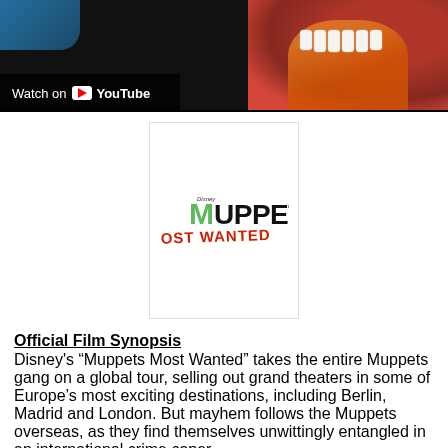[Figure (screenshot): YouTube video thumbnail showing Muppet character (Animal) with red fur and yellow body, with 'Watch on YouTube' overlay in bottom left corner]
[Figure (logo): Muppets Most Wanted movie poster/logo. Green stylized M with Disney branding, black bold text UPPETS, red stamp-style text MOST WANTED below]
Official Film Synopsis
Disney's “Muppets Most Wanted” takes the entire Muppets gang on a global tour, selling out grand theaters in some of Europe’s most exciting destinations, including Berlin, Madrid and London. But mayhem follows the Muppets overseas, as they find themselves unwittingly entangled in an international crime caper